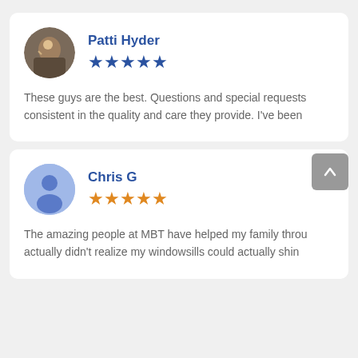Patti Hyder — 5 stars — These guys are the best. Questions and special requests consistent in the quality and care they provide. I've been
Chris G — 5 stars — The amazing people at MBT have helped my family throu actually didn't realize my windowsills could actually shin